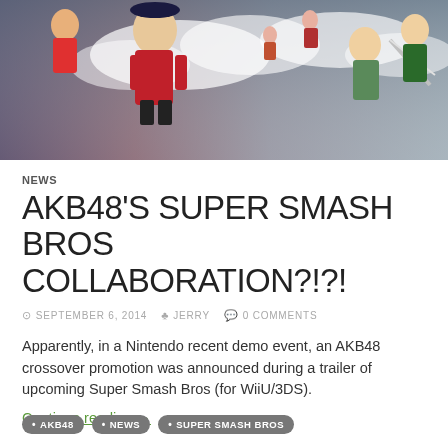[Figure (photo): Hero banner image showing Super Smash Bros characters including Mii fighters in costumes and Zelda characters against a cloudy sky background]
NEWS
AKB48'S SUPER SMASH BROS COLLABORATION?!?!
SEPTEMBER 6, 2014   JERRY   0 COMMENTS
Apparently, in a Nintendo recent demo event, an AKB48 crossover promotion was announced during a trailer of upcoming Super Smash Bros (for WiiU/3DS).
Continue reading →
AKB48   NEWS   SUPER SMASH BROS